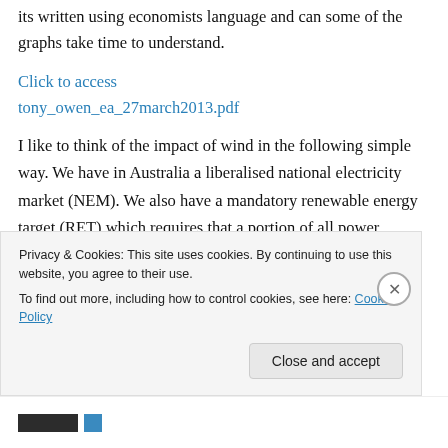its written using economists language and can some of the graphs take time to understand.
Click to access tony_owen_ea_27march2013.pdf
I like to think of the impact of wind in the following simple way. We have in Australia a liberalised national electricity market (NEM). We also have a mandatory renewable energy target (RET) which requires that a portion of all power purchased in the NEM comes from renewable
Privacy & Cookies: This site uses cookies. By continuing to use this website, you agree to their use.
To find out more, including how to control cookies, see here: Cookie Policy
Close and accept